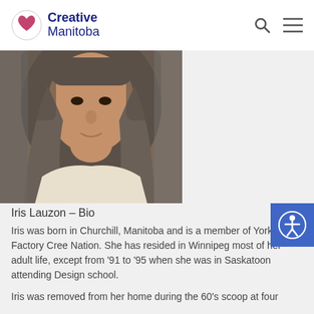Creative Manitoba
[Figure (photo): Portrait photo of Iris Lauzon, a woman with long gray hair wearing a white blouse, smiling slightly, taken indoors.]
Iris Lauzon – Bio
Iris was born in Churchill, Manitoba and is a member of York Factory Cree Nation. She has resided in Winnipeg most of her adult life, except from '91 to '95 when she was in Saskatoon attending Design school.
Iris was removed from her home during the 60's scoop at four…